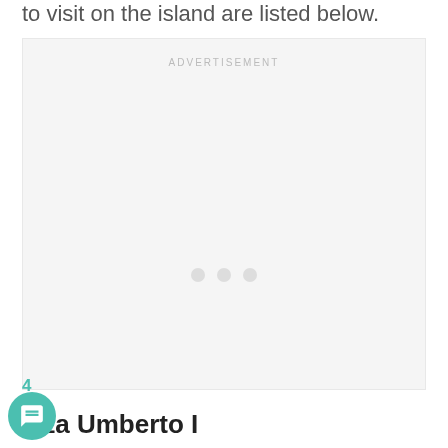to visit on the island are listed below.
[Figure (other): Advertisement placeholder box with label ADVERTISEMENT and three loading dots]
4
izza Umberto I